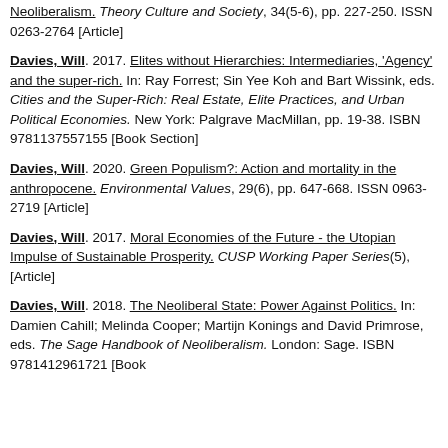Neoliberalism. Theory Culture and Society, 34(5-6), pp. 227-250. ISSN 0263-2764 [Article]
Davies, Will. 2017. Elites without Hierarchies: Intermediaries, 'Agency' and the super-rich. In: Ray Forrest; Sin Yee Koh and Bart Wissink, eds. Cities and the Super-Rich: Real Estate, Elite Practices, and Urban Political Economies. New York: Palgrave MacMillan, pp. 19-38. ISBN 9781137557155 [Book Section]
Davies, Will. 2020. Green Populism?: Action and mortality in the anthropocene. Environmental Values, 29(6), pp. 647-668. ISSN 0963-2719 [Article]
Davies, Will. 2017. Moral Economies of the Future - the Utopian Impulse of Sustainable Prosperity. CUSP Working Paper Series(5), [Article]
Davies, Will. 2018. The Neoliberal State: Power Against Politics. In: Damien Cahill; Melinda Cooper; Martijn Konings and David Primrose, eds. The Sage Handbook of Neoliberalism. London: Sage. ISBN 9781412961721 [Book